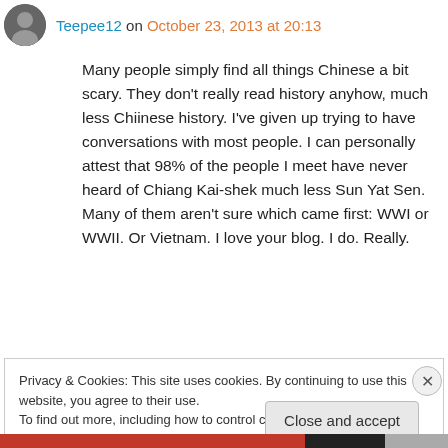Teepee12 on October 23, 2013 at 20:13
Many people simply find all things Chinese a bit scary. They don't really read history anyhow, much less Chiinese history. I've given up trying to have conversations with most people. I can personally attest that 98% of the people I meet have never heard of Chiang Kai-shek much less Sun Yat Sen. Many of them aren't sure which came first: WWI or WWII. Or Vietnam. I love your blog. I do. Really.
Privacy & Cookies: This site uses cookies. By continuing to use this website, you agree to their use.
To find out more, including how to control cookies, see here: Cookie Policy
Close and accept